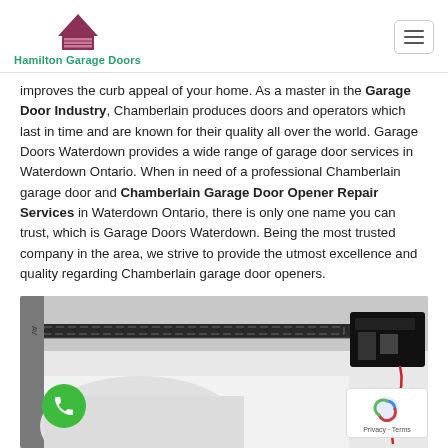[Figure (logo): Hamilton Garage Doors logo with house/garage icon in dark red/maroon and teal text]
improves the curb appeal of your home. As a master in the Garage Door Industry, Chamberlain produces doors and operators which last in time and are known for their quality all over the world. Garage Doors Waterdown provides a wide range of garage door services in Waterdown Ontario. When in need of a professional Chamberlain garage door and Chamberlain Garage Door Opener Repair Services in Waterdown Ontario, there is only one name you can trust, which is Garage Doors Waterdown. Being the most trusted company in the area, we strive to provide the utmost excellence and quality regarding Chamberlain garage door openers.
[Figure (photo): Photo of a garage door opener mechanism showing a chain drive rail, motor unit, and garage interior]